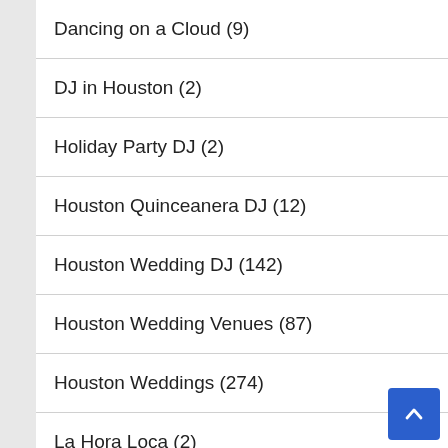Dancing on a Cloud (9)
DJ in Houston (2)
Holiday Party DJ (2)
Houston Quinceanera DJ (12)
Houston Wedding DJ (142)
Houston Wedding Venues (87)
Houston Weddings (274)
La Hora Loca (2)
Live Mixing Videos (1)